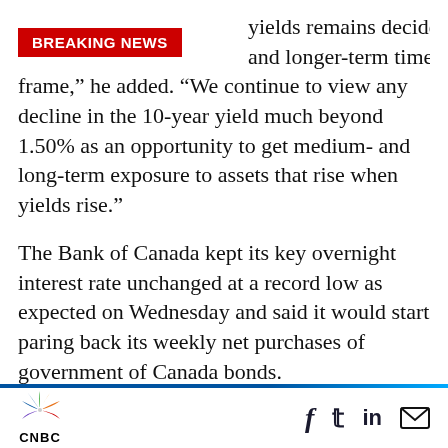BREAKING NEWS
yields remains decidedly and longer-term time frame,” he added. “We continue to view any decline in the 10-year yield much beyond 1.50% as an opportunity to get medium- and long-term exposure to assets that rise when yields rise.”
The Bank of Canada kept its key overnight interest rate unchanged at a record low as expected on Wednesday and said it would start paring back its weekly net purchases of government of Canada bonds.
The central bank vowed to keep rates at historic
CNBC